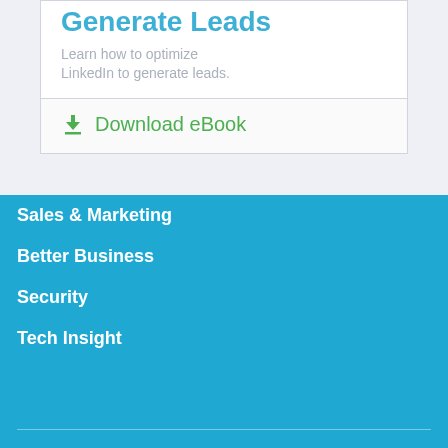Generate Leads
Learn how to optimize LinkedIn to generate leads.
Download eBook
Sales & Marketing
Better Business
Security
Tech Insight